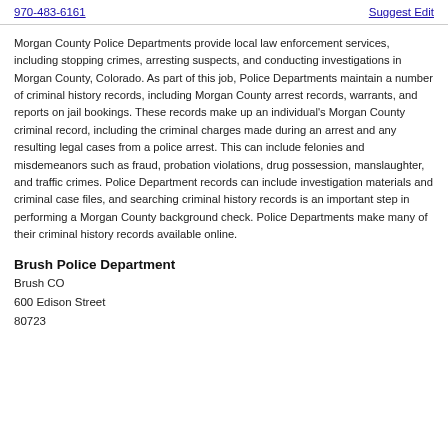970-483-6161   Suggest Edit
Morgan County Police Departments provide local law enforcement services, including stopping crimes, arresting suspects, and conducting investigations in Morgan County, Colorado. As part of this job, Police Departments maintain a number of criminal history records, including Morgan County arrest records, warrants, and reports on jail bookings. These records make up an individual's Morgan County criminal record, including the criminal charges made during an arrest and any resulting legal cases from a police arrest. This can include felonies and misdemeanors such as fraud, probation violations, drug possession, manslaughter, and traffic crimes. Police Department records can include investigation materials and criminal case files, and searching criminal history records is an important step in performing a Morgan County background check. Police Departments make many of their criminal history records available online.
Brush Police Department
Brush CO
600 Edison Street
80723